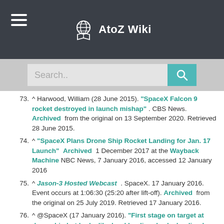AtoZ Wiki
73. ^ Harwood, William (28 June 2015). "SpaceX Falcon 9 rocket destroyed in launch mishap". CBS News. Archived from the original on 13 September 2020. Retrieved 28 June 2015.
74. ^ "SpaceX Plans Drone Ship Rocket Landing for Jan. 17 Launch" Archived 1 December 2017 at the Wayback Machine NBC News, 7 January 2016, accessed 12 January 2016
75. ^ Jason-3 Hosted Webcast. SpaceX. 17 January 2016. Event occurs at 1:06:30 (25:20 after lift-off). Archived from the original on 25 July 2019. Retrieved 17 January 2016.
76. ^ @SpaceX (17 January 2016). "First stage on target at droneship but looks like hard landing; broke landing leg. Primary mission remains nominal →